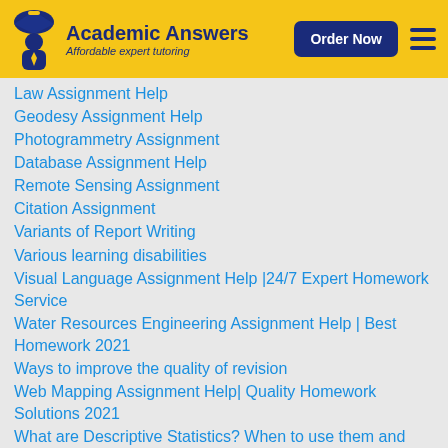Academic Answers — Affordable expert tutoring
Law Assignment Help
Geodesy Assignment Help
Photogrammetry Assignment
Database Assignment Help
Remote Sensing Assignment
Citation Assignment
Variants of Report Writing
Various learning disabilities
Visual Language Assignment Help |24/7 Expert Homework Service
Water Resources Engineering Assignment Help | Best Homework 2021
Ways to improve the quality of revision
Web Mapping Assignment Help| Quality Homework Solutions 2021
What are Descriptive Statistics? When to use them and Why?
What are Inferential Statistics?